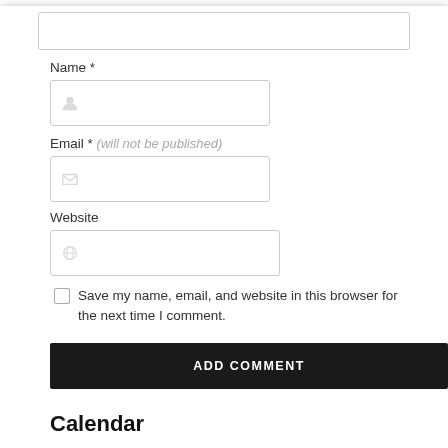[Figure (screenshot): Partially visible text input field at the top of the page]
Name *
[Figure (screenshot): Name input field with person icon]
Email * (will not be published)
[Figure (screenshot): Email input field with envelope icon]
Website
[Figure (screenshot): Website input field with compass/globe icon]
Save my name, email, and website in this browser for the next time I comment.
ADD COMMENT
Calendar
August 2022